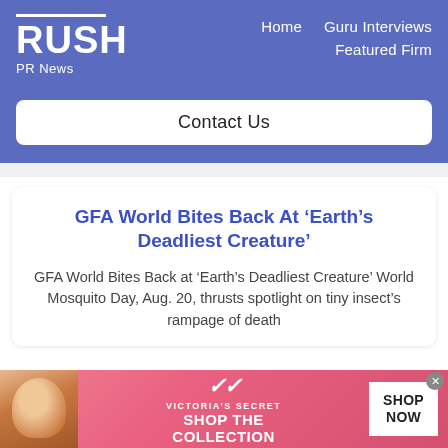RUSH PR News — Home | Guru Interviews | Featured Firm | Contact Us
GFA World Bites Back At ‘Earth’s Deadliest Creature’
GFA World Bites Back at ‘Earth’s Deadliest Creature’ World Mosquito Day, Aug. 20, thrusts spotlight on tiny insect’s rampage of death
[Figure (photo): Victoria’s Secret advertisement banner with a woman model photo, VS logo, 'SHOP THE COLLECTION' text, and 'SHOP NOW' button]